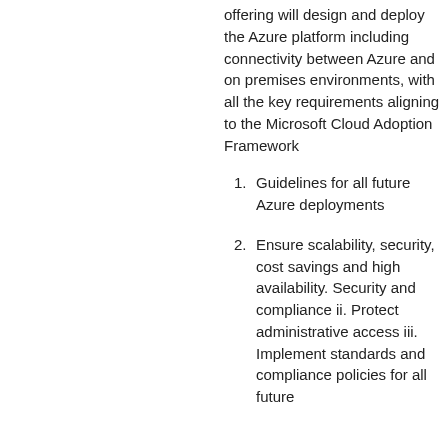offering will design and deploy the Azure platform including connectivity between Azure and on premises environments, with all the key requirements aligning to the Microsoft Cloud Adoption Framework
Guidelines for all future Azure deployments
Ensure scalability, security, cost savings and high availability. Security and compliance ii. Protect administrative access iii. Implement standards and compliance policies for all future